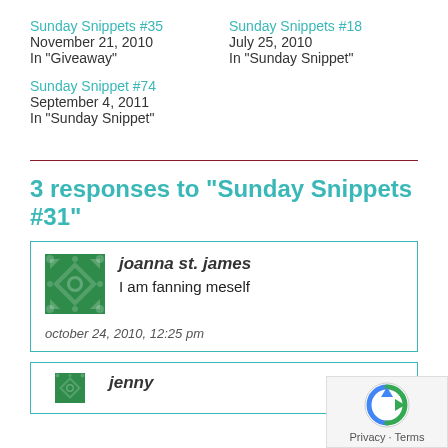Sunday Snippets #35
November 21, 2010
In "Giveaway"
Sunday Snippets #18
July 25, 2010
In "Sunday Snippet"
Sunday Snippet #74
September 4, 2011
In "Sunday Snippet"
3 responses to “Sunday Snippets #31”
joanna st. james
I am fanning meself
october 24, 2010, 12:25 pm
[Figure (illustration): Green decorative tile avatar icon for commenter joanna st. james]
[Figure (illustration): Partial green decorative tile avatar for second commenter (cut off at bottom)]